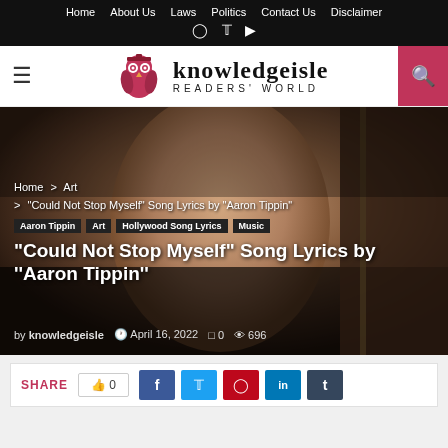Home  About Us  Laws  Politics  Contact Us  Disclaimer
[Figure (logo): Knowledgeisle owl logo with graduation cap, text: knowledgeisle READERS' WORLD]
[Figure (photo): Middle-aged man with mustache smiling and holding a guitar, warm toned photo]
Home > Art > "Could Not Stop Myself" Song Lyrics by "Aaron Tippin"
Aaron Tippin
Art
Hollywood Song Lyrics
Music
“Could Not Stop Myself” Song Lyrics by ‘‘Aaron Tippin’’
by knowledgeisle  April 16, 2022  0  696
SHARE  0